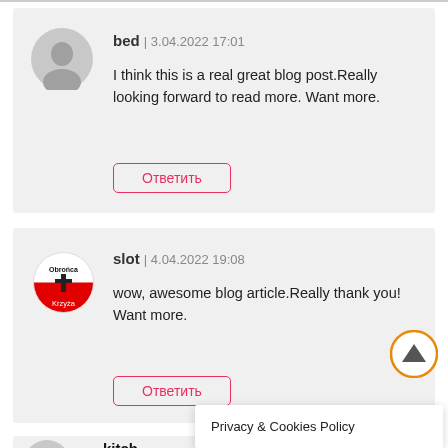bed | 3.04.2022 17:01
I think this is a real great blog post.Really looking forward to read more. Want more.
Ответить
slot | 4.04.2022 19:08
wow, awesome blog article.Really thank you! Want more.
Ответить
kitch
Privacy & Cookies Policy